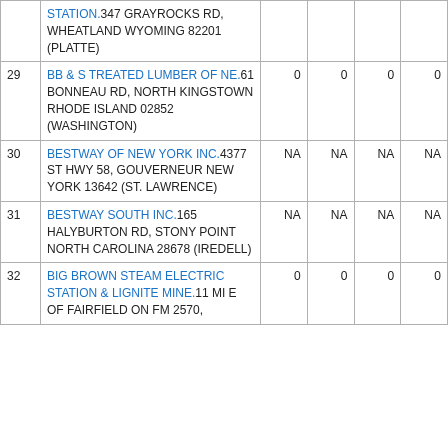| # | Facility Name & Address | Col1 | Col2 | Col3 | Col4 |
| --- | --- | --- | --- | --- | --- |
|  | STATION.347 GRAYROCKS RD, WHEATLAND WYOMING 82201 (PLATTE) |  |  |  |  |
| 29 | BB & S TREATED LUMBER OF NE.61 BONNEAU RD, NORTH KINGSTOWN RHODE ISLAND 02852 (WASHINGTON) | 0 | 0 | 0 | 0 |
| 30 | BESTWAY OF NEW YORK INC.4377 ST HWY 58, GOUVERNEUR NEW YORK 13642 (ST. LAWRENCE) | NA | NA | NA | NA |
| 31 | BESTWAY SOUTH INC.165 HALYBURTON RD, STONY POINT NORTH CAROLINA 28678 (IREDELL) | NA | NA | NA | NA |
| 32 | BIG BROWN STEAM ELECTRIC STATION & LIGNITE MINE.11 MI E OF FAIRFIELD ON FM 2570, | 0 | 0 | 0 | 0 |